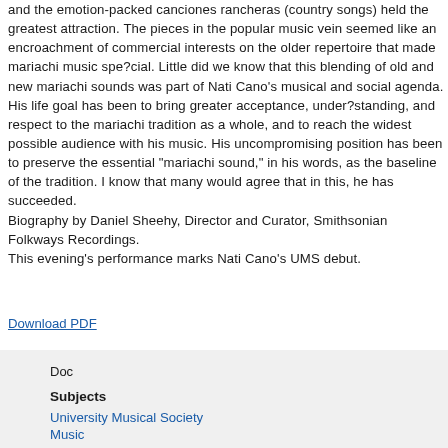and the emotion-packed canciones rancheras (country songs) held the greatest attraction. The pieces in the popular music vein seemed like an encroachment of commercial interests on the older repertoire that made mariachi music spe?cial. Little did we know that this blending of old and new mariachi sounds was part of Nati Cano's musical and social agenda. His life goal has been to bring greater acceptance, under?standing, and respect to the mariachi tradition as a whole, and to reach the widest possible audience with his music. His uncompromising position has been to preserve the essential "mariachi sound," in his words, as the baseline of the tradition. I know that many would agree that in this, he has succeeded.
Biography by Daniel Sheehy, Director and Curator, Smithsonian Folkways Recordings.
This evening's performance marks Nati Cano's UMS debut.
Download PDF
Doc
Subjects
University Musical Society
Music